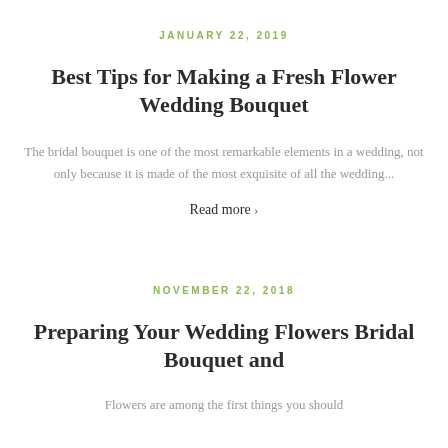JANUARY 22, 2019
Best Tips for Making a Fresh Flower Wedding Bouquet
The bridal bouquet is one of the most remarkable elements in a wedding, not only because it is made of the most exquisite of all the wedding...
Read more >
NOVEMBER 22, 2018
Preparing Your Wedding Flowers Bridal Bouquet and
Flowers are among the first things you should